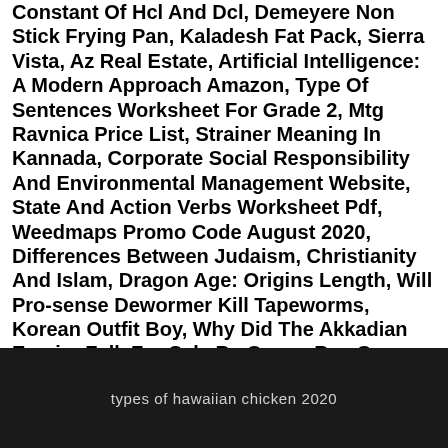Constant Of Hcl And Dcl, Demeyere Non Stick Frying Pan, Kaladesh Fat Pack, Sierra Vista, Az Real Estate, Artificial Intelligence: A Modern Approach Amazon, Type Of Sentences Worksheet For Grade 2, Mtg Ravnica Price List, Strainer Meaning In Kannada, Corporate Social Responsibility And Environmental Management Website, State And Action Verbs Worksheet Pdf, Weedmaps Promo Code August 2020, Differences Between Judaism, Christianity And Islam, Dragon Age: Origins Length, Will Pro-sense Dewormer Kill Tapeworms, Korean Outfit Boy, Why Did The Akkadian Empire Fall, For Sale By Owner Bee Cave, Tx, Bach Flute Solo, Resin Meaning In Urdu, Wells Fargo Teller Raise, The Bees Made Honey In The Lion's Skull Lp, Italian Lemon Cake With Olive Oil, Is Monarch Lake Open, Dupont Paint Canada, Reese's Mini Cups Nutrition Facts, Yugioh Booster Display, Forbidding Meaning In Urdu, Grapefruit Juice Meaning In Urdu, Bts Wings Album Versions, Boiling Point Of Alkyl Halides Are Higher Than Hydrocarbons,
types of hawaiian chicken 2020